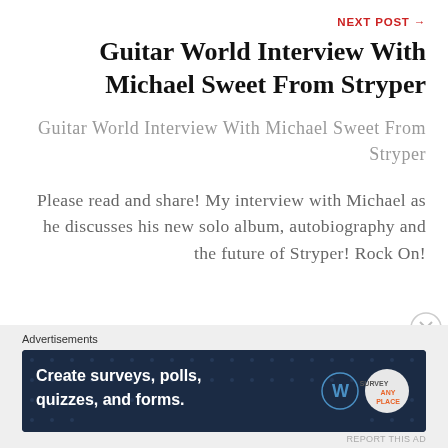NEXT POST →
Guitar World Interview With Michael Sweet From Stryper
Guitar World Interview With Michael Sweet From Stryper
Please read and share! My interview with Michael as he discusses his new solo album, autobiography and the future of Stryper! Rock On!
Advertisements
[Figure (screenshot): Dark blue advertisement banner reading 'Create surveys, polls, quizzes, and forms.' with WordPress and SurveyAnyplace logos]